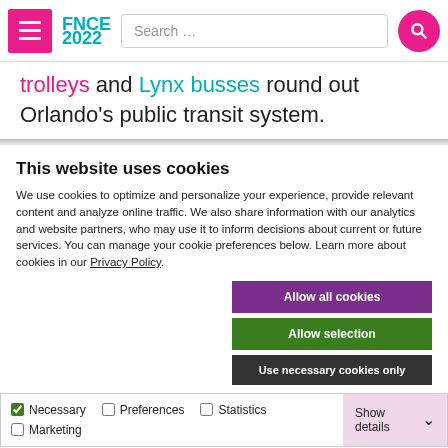FNCE 2022
trolleys and Lynx busses round out Orlando's public transit system.
This website uses cookies
We use cookies to optimize and personalize your experience, provide relevant content and analyze online traffic. We also share information with our analytics and website partners, who may use it to inform decisions about current or future services. You can manage your cookie preferences below. Learn more about cookies in our Privacy Policy.
Allow all cookies
Allow selection
Use necessary cookies only
Necessary  Preferences  Statistics  Marketing  Show details